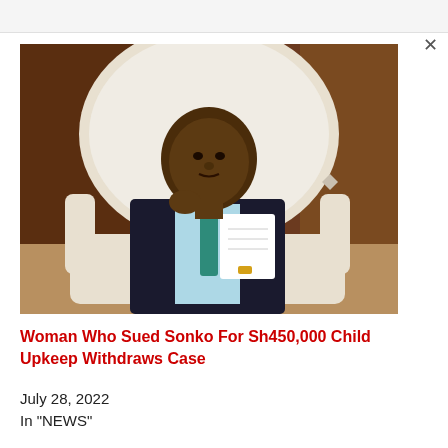[Figure (photo): A man in a dark suit and teal tie sitting in an ornate white chair, holding white papers, with a brown wood-paneled background.]
Woman Who Sued Sonko For Sh450,000 Child Upkeep Withdraws Case
July 28, 2022
In "NEWS"